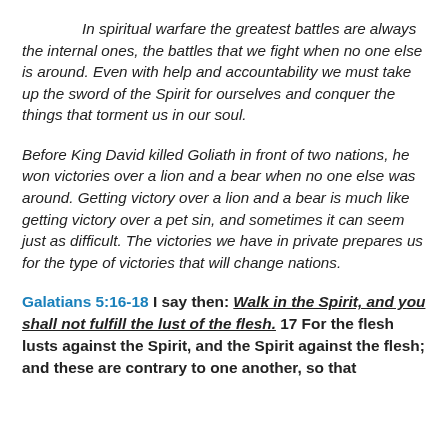In spiritual warfare the greatest battles are always the internal ones, the battles that we fight when no one else is around. Even with help and accountability we must take up the sword of the Spirit for ourselves and conquer the things that torment us in our soul.
Before King David killed Goliath in front of two nations, he won victories over a lion and a bear when no one else was around. Getting victory over a lion and a bear is much like getting victory over a pet sin, and sometimes it can seem just as difficult. The victories we have in private prepares us for the type of victories that will change nations.
Galatians 5:16-18 I say then: Walk in the Spirit, and you shall not fulfill the lust of the flesh. 17 For the flesh lusts against the Spirit, and the Spirit against the flesh; and these are contrary to one another, so that